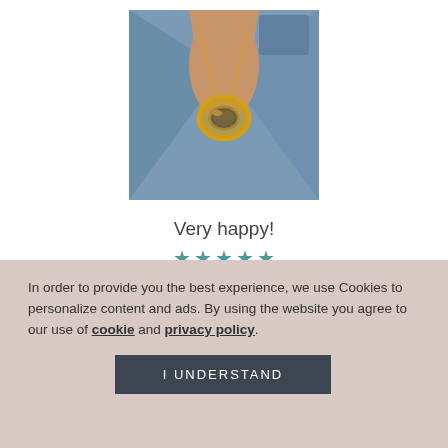[Figure (photo): Photo of a person wearing a gold circular pendant necklace on a denim jacket]
Very happy!
[Figure (other): Five teal/dark cyan star rating icons]
In order to provide you the best experience, we use Cookies to personalize content and ads. By using the website you agree to our use of cookie and privacy policy.
I UNDERSTAND